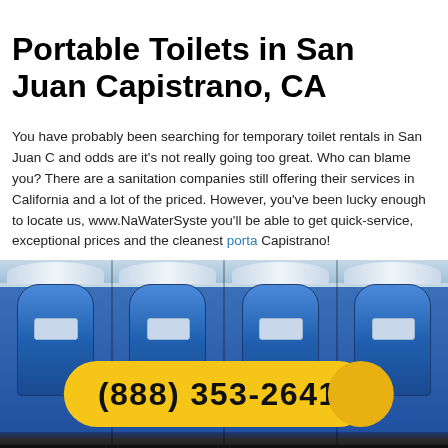Portable Toilets in San Juan Capistrano, CA
You have probably been searching for temporary toilet rentals in San Juan C... and odds are it's not really going too great. Who can blame you? There are a... sanitation companies still offering their services in California and a lot of them... priced. However, you've been lucky enough to locate us, www.NaWaterSyst... you'll be able to get quick-service, exceptional prices and the cleanest porta... Capistrano!
[Figure (photo): Row of blue portable toilets with a yellow phone number banner showing (888) 353-2641]
Most of our rivals only talk about how good they are and then they disappoint... giving evidence to their presumed abilities. We, on one other hand, will show... considered the most truly effective porta pottie rental suporta pottyliers in Sa...